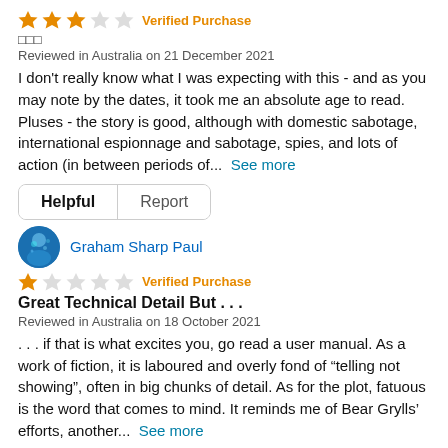[Figure (other): 2 out of 5 stars rating with Verified Purchase label]
□□□
Reviewed in Australia on 21 December 2021
I don't really know what I was expecting with this - and as you may note by the dates, it took me an absolute age to read. Pluses - the story is good, although with domestic sabotage, international espionnage and sabotage, spies, and lots of action (in between periods of...  See more
Helpful  Report
[Figure (photo): Blue avatar icon for reviewer Graham Sharp Paul]
Graham Sharp Paul
[Figure (other): 1 out of 5 stars rating with Verified Purchase label]
Great Technical Detail But . . .
Reviewed in Australia on 18 October 2021
. . . if that is what excites you, go read a user manual. As a work of fiction, it is laboured and overly fond of "telling not showing", often in big chunks of detail. As for the plot, fatuous is the word that comes to mind. It reminds me of Bear Grylls' efforts, another...  See more